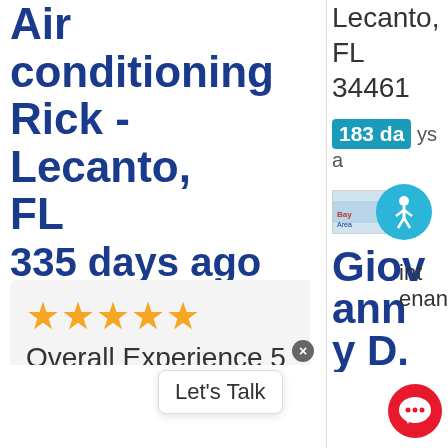Air conditioning Rick - Lecanto, FL
335 days ago
Review of Bay Area Air Conditioning Inc.
Lecanto, FL 34461
183 da ys ago
[Figure (logo): Bay Area Air Conditioning company logo thumbnail]
[Figure (illustration): Accessibility icon - blue circle with person figure]
Giovanni D.
[Figure (other): Rating section with 5 gold stars, Overall Experience 5/5, divider line, 5 gold stars, Quality label]
Let's Talk
[Figure (illustration): Red chat bubble icon bottom right]
int enan